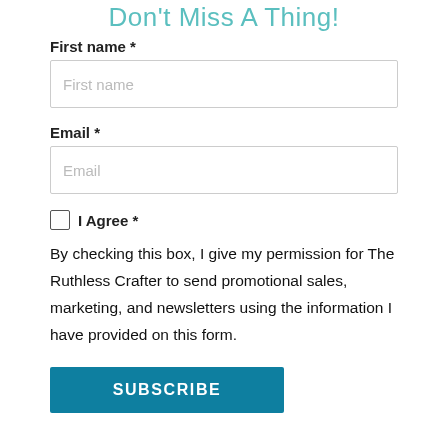Don't Miss A Thing!
First name *
First name
Email *
Email
I Agree *
By checking this box, I give my permission for The Ruthless Crafter to send promotional sales, marketing, and newsletters using the information I have provided on this form.
SUBSCRIBE